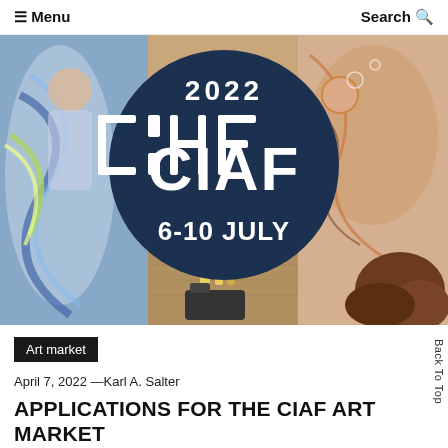☰ Menu    Search
[Figure (photo): CIAF 2022 art fair promotional banner showing artwork and a dark navy circle logo with white text '2022', 'CIAF' in bold stylized lettering, and '6-10 JULY'. Artworks visible include colorful fabric/textile pieces on left and illustrated/painted works on right and center.]
Art market
April 7, 2022 —Karl A. Salter
APPLICATIONS FOR THE CIAF ART MARKET